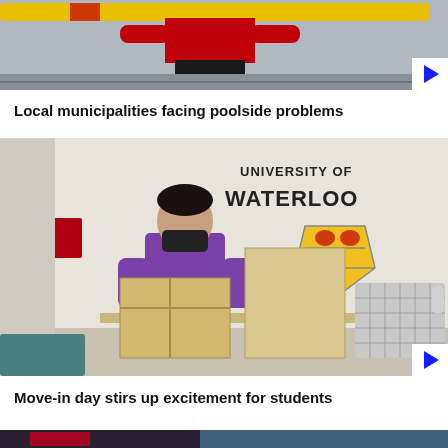[Figure (photo): Lifeguard holding a yellow rescue board at a pool, wearing red and black outfit, seen from torso down.]
Local municipalities facing poolside problems
[Figure (photo): Student wearing a purple shirt and black mask moving cardboard boxes and a laundry basket in front of a University of Waterloo sign and crest.]
Move-in day stirs up excitement for students
[Figure (photo): Partial view of a third news photo at the bottom of the page, mostly cut off.]